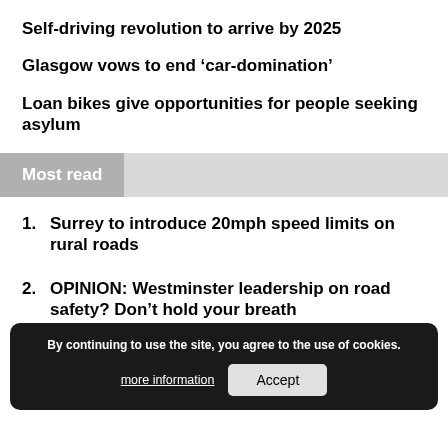Self-driving revolution to arrive by 2025
Glasgow vows to end ‘car-domination’
Loan bikes give opportunities for people seeking asylum
Most read
1. Surrey to introduce 20mph speed limits on rural roads
2. OPINION: Westminster leadership on road safety? Don’t hold your breath
3. Self-drivin… to …5
4. Scheme to rate safety and sustainability of a
By continuing to use the site, you agree to the use of cookies. more information  Accept